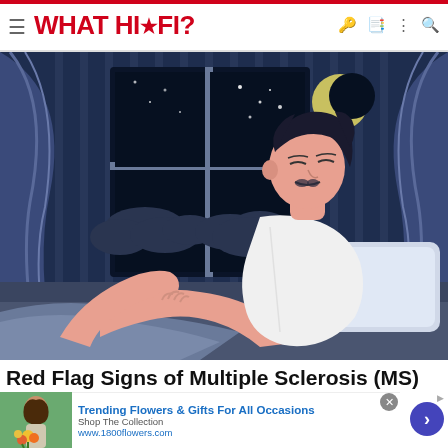WHAT HI·FI?
[Figure (illustration): Digital illustration of a man sitting up in bed at night, scratching or holding his leg, with a window showing a crescent moon and clouds in the dark blue night sky. Curtains frame the window. The man wears a white sleeveless shirt and appears to be in discomfort.]
Red Flag Signs of Multiple Sclerosis (MS) Many May Not Be Aware Of
[Figure (photo): Advertisement image showing a woman holding a bouquet of sunflowers and other colorful flowers outdoors.]
Trending Flowers & Gifts For All Occasions
Shop The Collection
www.1800flowers.com